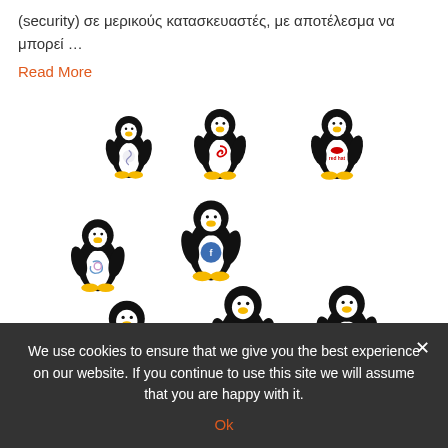(security) σε μερικούς κατασκευαστές, με αποτέλεσμα να μπορεί …
Read More
[Figure (illustration): Eight Tux penguin mascots (Linux logo) each displaying a different Linux distribution logo on their belly: plain, Fedora, Debian, Red Hat, unknown swirl, Ubuntu, openSUSE, and another distribution.]
Install X2Go on ubuntu
We use cookies to ensure that we give you the best experience on our website. If you continue to use this site we will assume that you are happy with it.
Ok